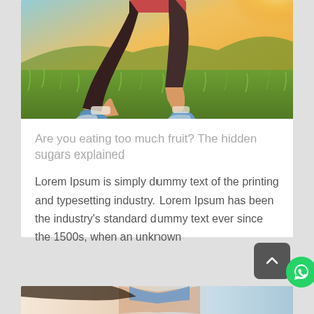[Figure (photo): Runner's legs in black workout pants and blue sneakers running through a grassy field at golden hour/sunset. View is from waist down.]
Are you eating too much fruit? The hidden sugars explained
Lorem Ipsum is simply dummy text of the printing and typesetting industry. Lorem Ipsum has been the industry's standard dummy text ever since the 1500s, when an unknown
[Figure (photo): Partial view of a woman in workout/athletic attire, cropped at the bottom of the page.]